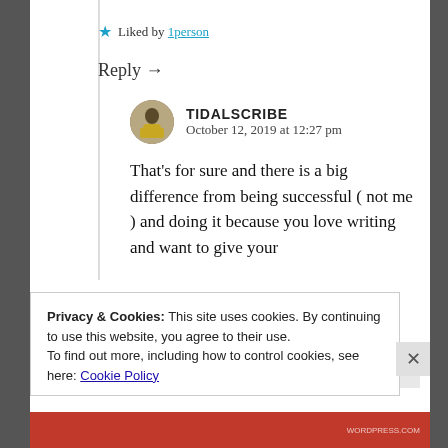★ Liked by 1person
Reply →
TIDALSCRIBE
October 12, 2019 at 12:27 pm
That's for sure and there is a big difference from being successful ( not me ) and doing it because you love writing and want to give your
Privacy & Cookies: This site uses cookies. By continuing to use this website, you agree to their use.
To find out more, including how to control cookies, see here: Cookie Policy
Close and accept